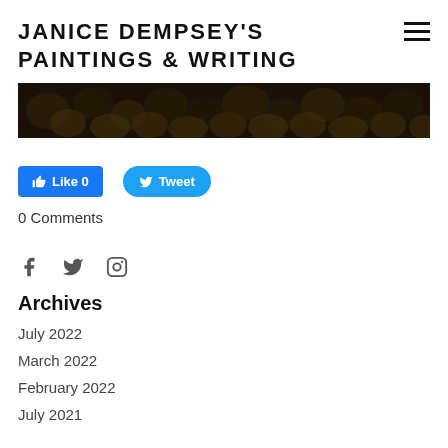JANICE DEMPSEY'S PAINTINGS & WRITING
[Figure (photo): Dark textured image showing rounded shapes resembling stones or pebbles, very dark brown tones with subtle amber highlights]
Like 0   Tweet
0 Comments
[Figure (infographic): Social media icons: Facebook (f), Twitter (bird), Instagram (camera)]
Archives
July 2022
March 2022
February 2022
July 2021